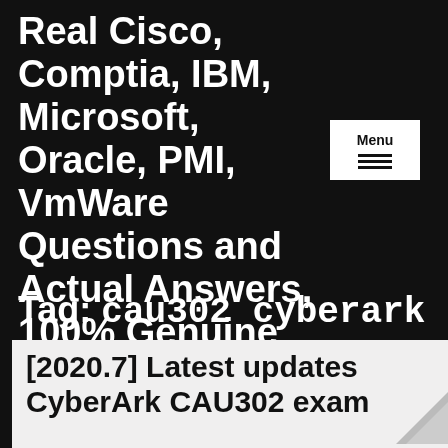Real Cisco, Comptia, IBM, Microsoft, Oracle, PMI, VmWare Questions and Actual Answers, 100% Genuine Guarantee
Tag: cau302 cyberark
[2020.7] Latest updates CyberArk CAU302 exam